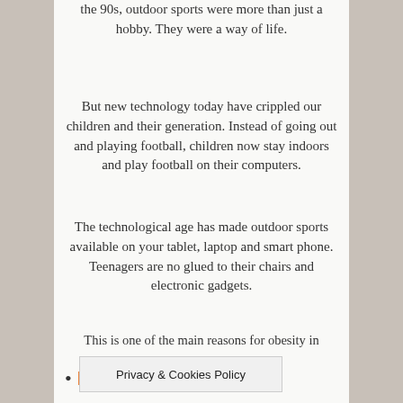the 90s, outdoor sports were more than just a hobby. They were a way of life.
But new technology today have crippled our children and their generation. Instead of going out and playing football, children now stay indoors and play football on their computers.
The technological age has made outdoor sports available on your tablet, laptop and smart phone. Teenagers are no glued to their chairs and electronic gadgets.
This is one of the main reasons for obesity in teenagers. Try this, take all the electronic gadgets from your child and hide them somewhere. You'll find out if they go out or not to play! Well, that was a joke!!!
MYTH: T... ...e(d)